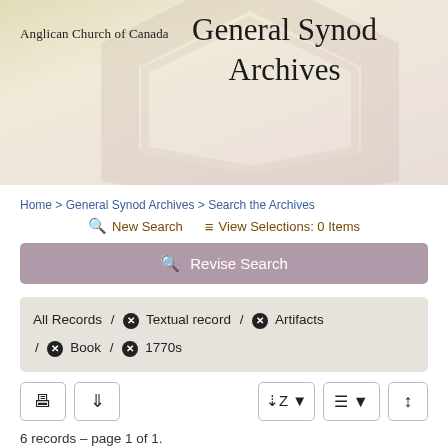Anglican Church of Canada
General Synod Archives
Home > General Synod Archives > Search the Archives
New Search   View Selections: 0 Items
Revise Search
All Records / ✕ Textual record / ✕ Artifacts / ✕ Book / ✕ 1770s
6 records – page 1 of 1.